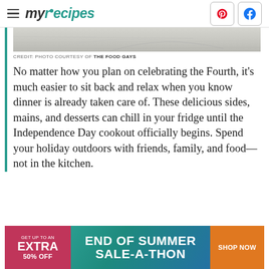myrecipes — navigation bar with Pinterest and Facebook icons
[Figure (photo): Partial photo showing a light-colored wooden surface or background, cropped at top]
CREDIT: PHOTO COURTESY OF THE FOOD GAYS
No matter how you plan on celebrating the Fourth, it's much easier to sit back and relax when you know dinner is already taken care of. These delicious sides, mains, and desserts can chill in your fridge until the Independence Day cookout officially begins. Spend your holiday outdoors with friends, family, and food—not in the kitchen.
[Figure (infographic): Advertisement banner: GET UP TO AN EXTRA 50% OFF | END OF SUMMER SALE-A-THON | SHOP NOW]